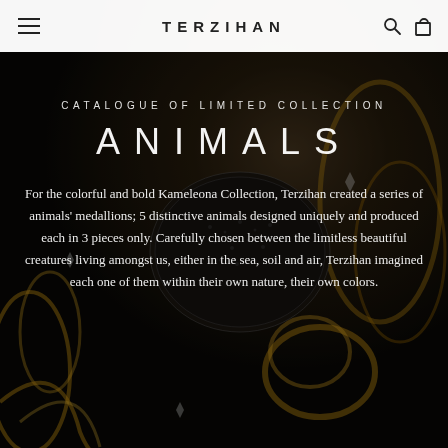TERZIHAN
[Figure (photo): Dark background showing luxury animal-themed jewelry pieces — medallions with intricate designs in gold and silver tones with diamond accents, Kameleona Collection by Terzihan]
CATALOGUE OF LIMITED COLLECTION
ANIMALS
For the colorful and bold Kameleona Collection, Terzihan created a series of animals' medallions; 5 distinctive animals designed uniquely and produced each in 3 pieces only. Carefully chosen between the limitless beautiful creatures living amongst us, either in the sea, soil and air, Terzihan imagined each one of them within their own nature, their own colors.